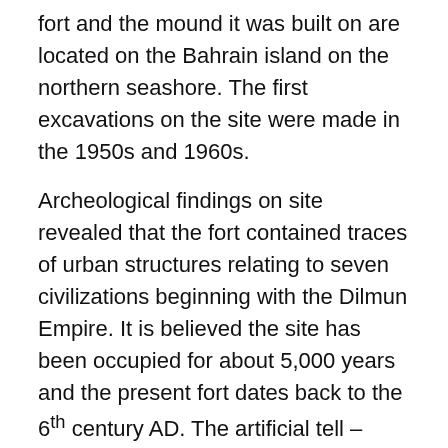fort and the mound it was built on are located on the Bahrain island on the northern seashore. The first excavations on the site were made in the 1950s and 1960s.
Archeological findings on site revealed that the fort contained traces of urban structures relating to seven civilizations beginning with the Dilmun Empire. It is believed the site has been occupied for about 5,000 years and the present fort dates back to the 6th century AD. The artificial tell – mound – the fort was built on is an accumulation of human occupation.
Structures found at the tell vary between residential, public, commercial, religious and military. There's also the famous Qalat Al-Burtughal (The